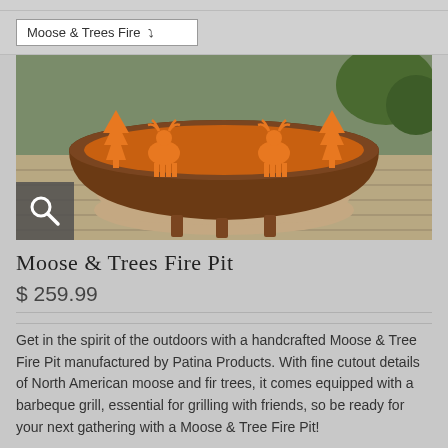[Figure (screenshot): Dropdown UI element showing 'Moose & Trees Fire' with a dropdown arrow]
[Figure (photo): Photo of a Moose & Trees Fire Pit — a round metal fire pit with orange cutout moose and tree designs, sitting on stone pavers outdoors on a wooden deck, with a magnifying glass icon overlay in the bottom left]
Moose & Trees Fire Pit
$ 259.99
Get in the spirit of the outdoors with a handcrafted Moose & Tree Fire Pit manufactured by Patina Products. With fine cutout details of North American moose and fir trees, it comes equipped with a barbeque grill, essential for grilling with friends, so be ready for your next gathering with a Moose & Tree Fire Pit!